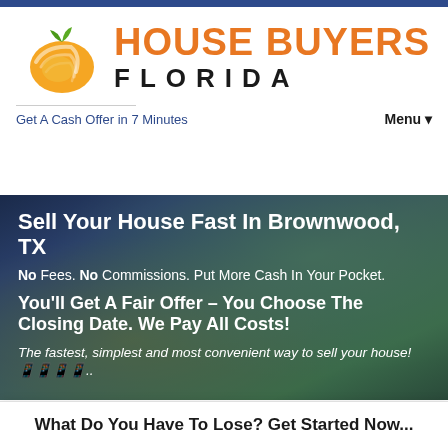[Figure (logo): House Buyers Florida logo with orange peach/globe icon and green leaf, orange bold text 'HOUSE BUYERS' and dark spaced text 'FLORIDA']
Get A Cash Offer in 7 Minutes
Menu ▼
[Figure (photo): Aerial view of residential neighborhood with houses and green trees, overlaid with dark blue tint]
Sell Your House Fast In Brownwood, TX
No Fees. No Commissions. Put More Cash In Your Pocket.
You'll Get A Fair Offer – You Choose The Closing Date. We Pay All Costs!
The fastest, simplest and most convenient way to sell your house! 🏠🏠🏠🏠..
What Do You Have To Lose? Get Started Now...